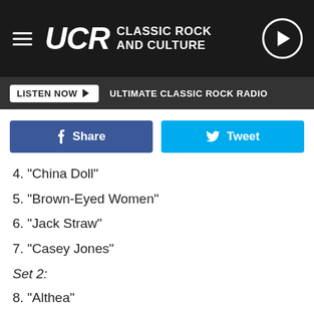UCR CLASSIC ROCK AND CULTURE
LISTEN NOW  ULTIMATE CLASSIC ROCK RADIO
Share  Tweet
4. "China Doll"
5. "Brown-Eyed Women"
6. "Jack Straw"
7. "Casey Jones"
Set 2:
8. "Althea"
9. "Scarlet Begonias"
10. "China Cat Sunflower"
11. "I Know You Rider" (traditional cover)
12. "Fire on the Mountain"